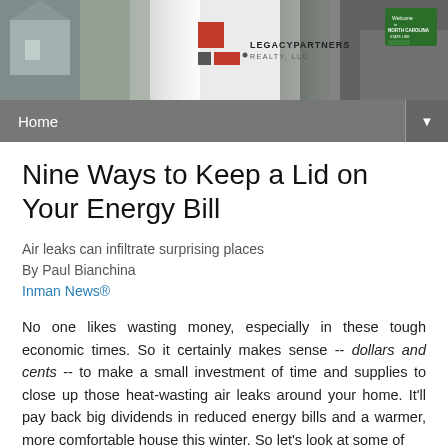[Figure (illustration): Legacy Partners Realty LLC website header banner with house photos on the left, a road through trees on the right, and the company logo (red squares with text) in the center]
Home ▼
Nine Ways to Keep a Lid on Your Energy Bill
Air leaks can infiltrate surprising places
By Paul Bianchina
Inman News®
No one likes wasting money, especially in these tough economic times. So it certainly makes sense -- dollars and cents -- to make a small investment of time and supplies to close up those heat-wasting air leaks around your home. It'll pay back big dividends in reduced energy bills and a warmer, more comfortable house this winter. So let's look at some of